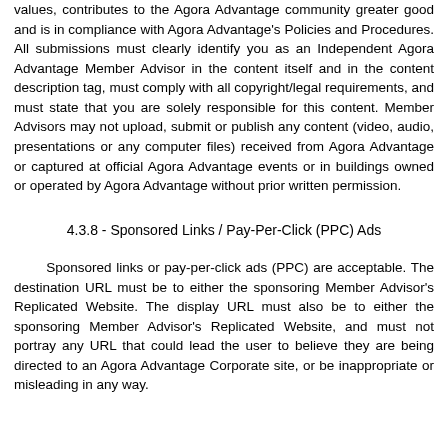values, contributes to the Agora Advantage community greater good and is in compliance with Agora Advantage's Policies and Procedures. All submissions must clearly identify you as an Independent Agora Advantage Member Advisor in the content itself and in the content description tag, must comply with all copyright/legal requirements, and must state that you are solely responsible for this content. Member Advisors may not upload, submit or publish any content (video, audio, presentations or any computer files) received from Agora Advantage or captured at official Agora Advantage events or in buildings owned or operated by Agora Advantage without prior written permission.
4.3.8 - Sponsored Links / Pay-Per-Click (PPC) Ads
Sponsored links or pay-per-click ads (PPC) are acceptable. The destination URL must be to either the sponsoring Member Advisor's Replicated Website. The display URL must also be to either the sponsoring Member Advisor's Replicated Website, and must not portray any URL that could lead the user to believe they are being directed to an Agora Advantage Corporate site, or be inappropriate or misleading in any way.